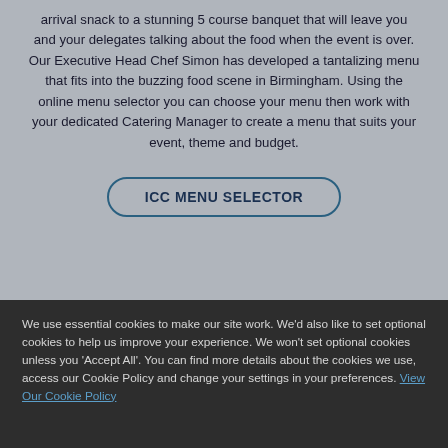arrival snack to a stunning 5 course banquet that will leave you and your delegates talking about the food when the event is over. Our Executive Head Chef Simon has developed a tantalizing menu that fits into the buzzing food scene in Birmingham. Using the online menu selector you can choose your menu then work with your dedicated Catering Manager to create a menu that suits your event, theme and budget.
ICC MENU SELECTOR
We use essential cookies to make our site work. We'd also like to set optional cookies to help us improve your experience. We won't set optional cookies unless you 'Accept All'. You can find more details about the cookies we use, access our Cookie Policy and change your settings in your preferences. View Our Cookie Policy